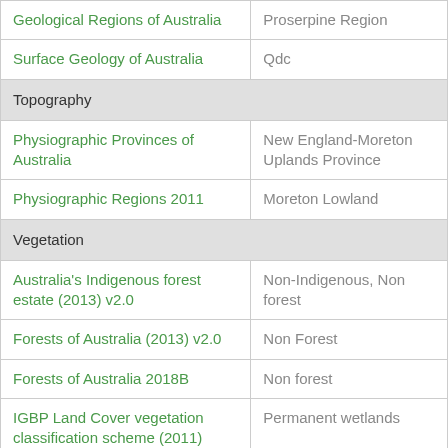| Dataset | Value |
| --- | --- |
| Geological Regions of Australia | Proserpine Region |
| Surface Geology of Australia | Qdc |
| Topography |  |
| Physiographic Provinces of Australia | New England-Moreton Uplands Province |
| Physiographic Regions 2011 | Moreton Lowland |
| Vegetation |  |
| Australia's Indigenous forest estate (2013) v2.0 | Non-Indigenous, Non forest |
| Forests of Australia (2013) v2.0 | Non Forest |
| Forests of Australia 2018B | Non forest |
| IGBP Land Cover vegetation classification scheme (2011) | Permanent wetlands |
| Land cover | Native forests and woodlands |
| NVIS 4.1 Major Vegetation Groups | Cleared, non-native vegetation, buildings |